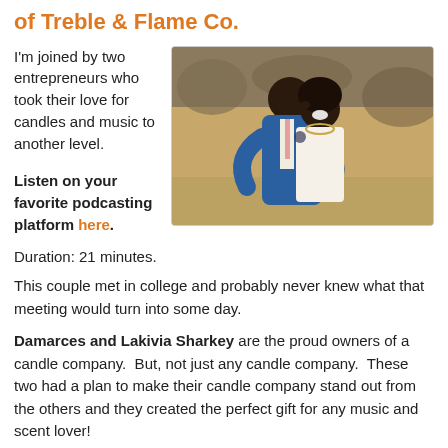of Treble & Flame Co.
I'm joined by two entrepreneurs who took their love for candles and music to another level.
[Figure (photo): A couple embracing and smiling outdoors; man in blue suit jacket, woman in white strapless dress with a shoulder tattoo and necklace.]
Listen on your favorite podcasting platform here.
Duration: 21 minutes.
This couple met in college and probably never knew what that meeting would turn into some day.
Damarces and Lakivia Sharkey are the proud owners of a candle company.  But, not just any candle company.  These two had a plan to make their candle company stand out from the others and they created the perfect gift for any music and scent lover!